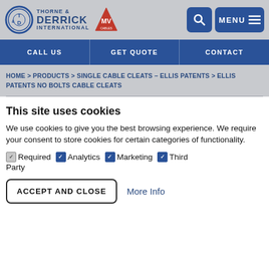Thorne & Derrick International — MV — Search — Menu
CALL US | GET QUOTE | CONTACT
HOME > PRODUCTS > SINGLE CABLE CLEATS – ELLIS PATENTS > ELLIS PATENTS NO BOLTS CABLE CLEATS
This site uses cookies
We use cookies to give you the best browsing experience. We require your consent to store cookies for certain categories of functionality.
Required  Analytics  Marketing  Third Party
ACCEPT AND CLOSE   More Info